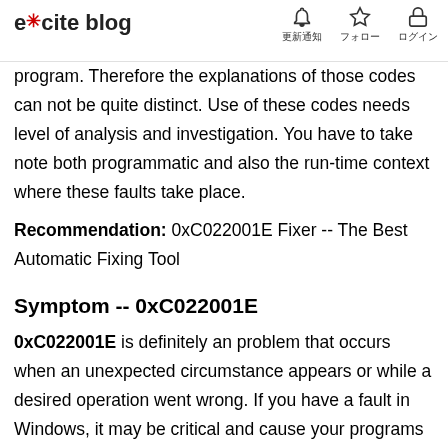excite blog — 更新通知 フォロー ログイン
program. Therefore the explanations of those codes can not be quite distinct. Use of these codes needs level of analysis and investigation. You have to take note both programmatic and also the run-time context where these faults take place.
Recommendation: 0xC022001E Fixer -- The Best Automatic Fixing Tool
Symptom -- 0xC022001E
0xC022001E is definitely an problem that occurs when an unexpected circumstance appears or while a desired operation went wrong. If you have a fault in Windows, it may be critical and cause your programs to freeze and crash or it